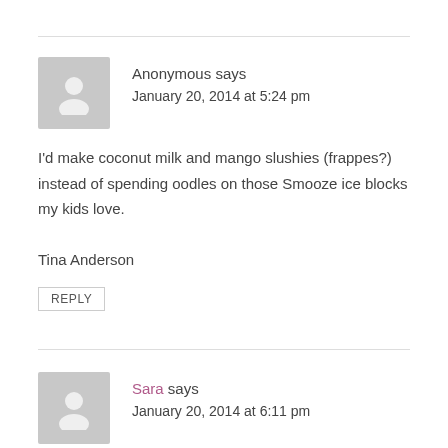Anonymous says
January 20, 2014 at 5:24 pm
I'd make coconut milk and mango slushies (frappes?) instead of spending oodles on those Smooze ice blocks my kids love.

Tina Anderson
REPLY
Sara says
January 20, 2014 at 6:11 pm